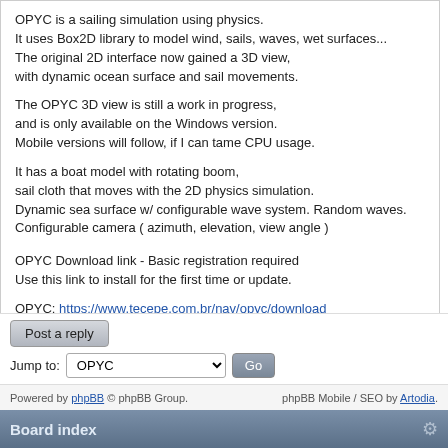OPYC is a sailing simulation using physics.
It uses Box2D library to model wind, sails, waves, wet surfaces...
The original 2D interface now gained a 3D view,
with dynamic ocean surface and sail movements.
The OPYC 3D view is still a work in progress,
and is only available on the Windows version.
Mobile versions will follow, if I can tame CPU usage.
It has a boat model with rotating boom,
sail cloth that moves with the 2D physics simulation.
Dynamic sea surface w/ configurable wave system. Random waves.
Configurable camera ( azimuth, elevation, view angle )
OPYC Download link - Basic registration required
Use this link to install for the first time or update.
OPYC: https://www.tecepe.com.br/nav/opyc/download
website: https://www.tecepe.com.br/nav/opyc/
Powered by phpBB © phpBB Group.   phpBB Mobile / SEO by Artodia.
Board index